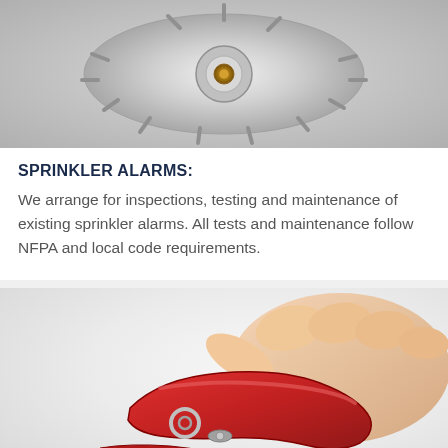[Figure (photo): Close-up photo of a chrome/silver fire sprinkler head viewed from below, showing the deflector plate with radial fins and a brass/gold heat-sensitive element in the center.]
SPRINKLER ALARMS:
We arrange for inspections, testing and maintenance of existing sprinkler alarms. All tests and maintenance follow NFPA and local code requirements.
[Figure (photo): Photo of a hand gripping a red fire extinguisher handle/lever, with a silver pin visible. Close-up shot showing fingers wrapped around the red metal handle.]